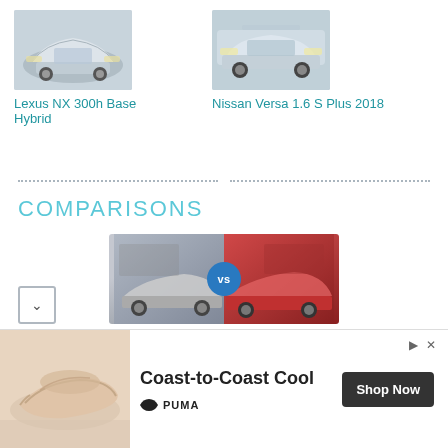[Figure (photo): Lexus NX 300h Base Hybrid white SUV on light background]
Lexus NX 300h Base Hybrid
[Figure (photo): Nissan Versa 1.6 S Plus 2018 silver sedan in urban environment]
Nissan Versa 1.6 S Plus 2018
COMPARISONS
[Figure (photo): Comparison image showing BMW 7 Series 750i xDrive 2018 vs Jaguar XF 20d Prestige 2018 side by side with VS badge]
Comparison - BMW 7 Series 750i xDrive 2018 - vs - Jaguar XF 20d Prestige 2018
[Figure (photo): Advertisement banner: PUMA shoes - Coast-to-Coast Cool, Shop Now button]